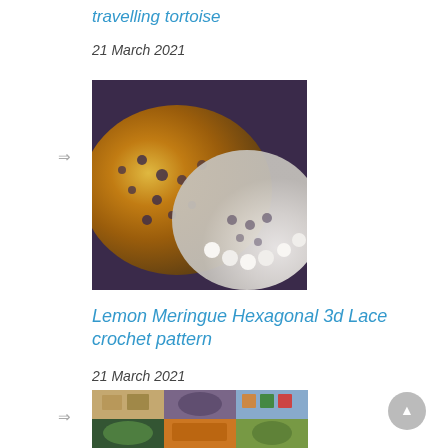travelling tortoise
21 March 2021
[Figure (photo): Close-up photo of crochet work showing yellow/golden lace pattern meeting white crocheted border on dark purple background]
Lemon Meringue Hexagonal 3d Lace crochet pattern
21 March 2021
[Figure (photo): Grid of 6 photos showing various crochet hexagonal lace patterns and items in multiple colors]